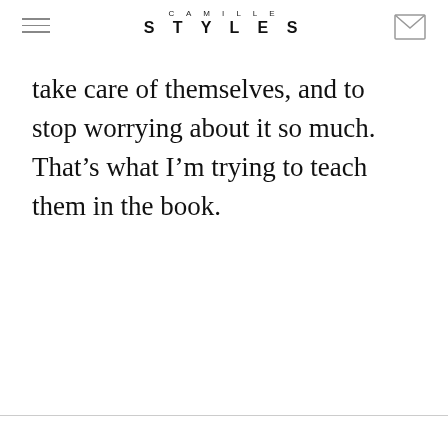CAMILLE STYLES
take care of themselves, and to stop worrying about it so much. That’s what I’m trying to teach them in the book.